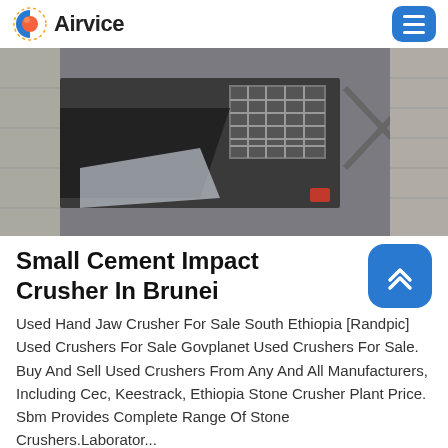Airvice
[Figure (photo): Industrial cement crusher machinery viewed from above, showing mechanical components, grating, and stone/concrete surroundings.]
Small Cement Impact Crusher In Brunei
Used Hand Jaw Crusher For Sale South Ethiopia [Randpic] Used Crushers For Sale Govplanet Used Crushers For Sale. Buy And Sell Used Crushers From Any And All Manufacturers, Including Cec, Keestrack, Ethiopia Stone Crusher Plant Price. Sbm Provides Complete Range Of Stone Crushers.Laborator...
Send Message   Free Consultation